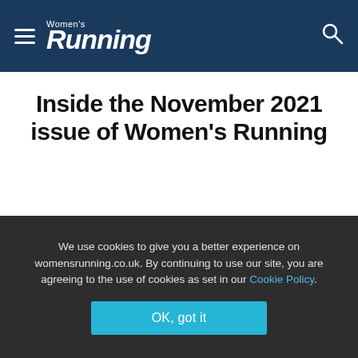Women's Running
Inside the November 2021 issue of Women's Running
Author: Holly Taylor
We use cookies to give you a better experience on womensrunning.co.uk. By continuing to use our site, you are agreeing to the use of cookies as set in our Cookie Policy.
OK, got it